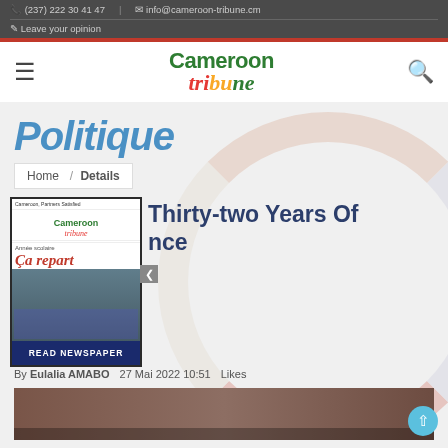(237) 222 30 41 47 | info@cameroon-tribune.cm | Leave your opinion
[Figure (logo): Cameroon Tribune newspaper logo with globe graphic]
Politique
Home / Details
[Figure (photo): Newspaper front page popup showing 'Année scolaire: Ça repart' headline with school children photo. READ NEWSPAPER button at bottom.]
Thirty-two Years Of nce
By Eulalia AMABO    27 Mai 2022 10:51    Likes
[Figure (photo): Photo of people in formal attire at what appears to be an official event]